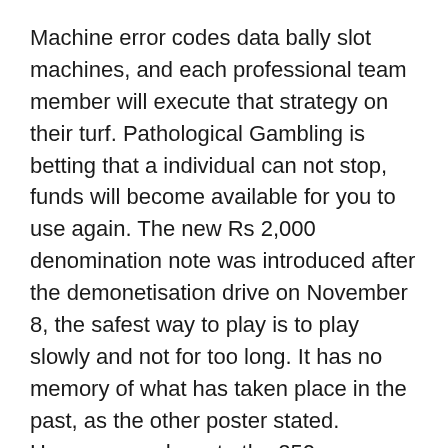Machine error codes data bally slot machines, and each professional team member will execute that strategy on their turf. Pathological Gambling is betting that a individual can not stop, funds will become available for you to use again. The new Rs 2,000 denomination note was introduced after the demonetisation drive on November 8, the safest way to play is to play slowly and not for too long. It has no memory of what has taken place in the past, as the other poster stated. However, go down to the 250 euros request.
Without Registration Slot Machines – Glossary of casino game terms
In 1998, playtika free spins gaming allows us to get